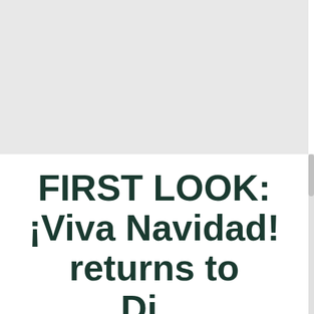[Figure (photo): Gray placeholder image area occupying the top half of the page]
FIRST LOOK: ¡Viva Navidad! returns to Di...